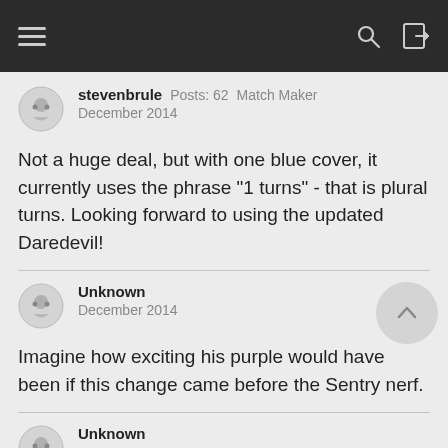Navigation bar with hamburger menu, search, and login icons
stevenbrule  Posts: 62  Match Maker
December 2014
Not a huge deal, but with one blue cover, it currently uses the phrase "1 turns" - that is plural turns. Looking forward to using the updated Daredevil!
Unknown
December 2014
Imagine how exciting his purple would have been if this change came before the Sentry nerf.
Unknown